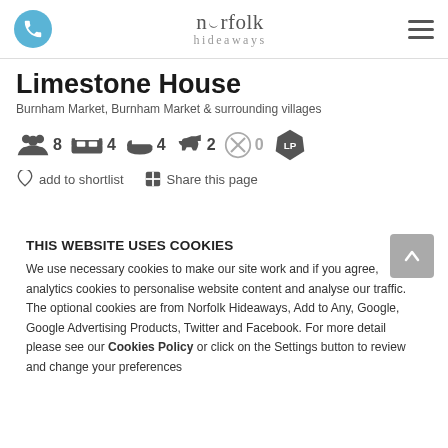Norfolk Hideaways — phone icon and hamburger menu
Limestone House
Burnham Market, Burnham Market & surrounding villages
8 guests  4 bedrooms  4 bathrooms  2 dogs  0 children  LP
add to shortlist   Share this page
THIS WEBSITE USES COOKIES
We use necessary cookies to make our site work and if you agree, analytics cookies to personalise website content and analyse our traffic.  The optional cookies are from Norfolk Hideaways, Add to Any, Google, Google Advertising Products, Twitter and Facebook. For more detail please see our Cookies Policy or click on the Settings button to review and change your preferences